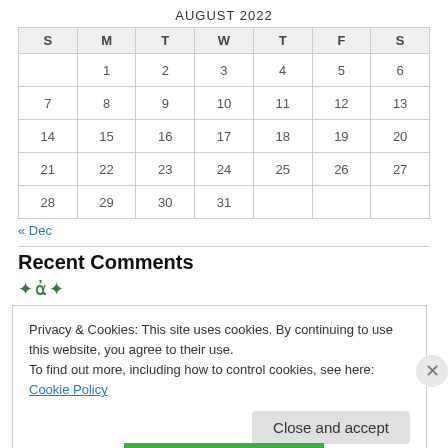AUGUST 2022
| S | M | T | W | T | F | S |
| --- | --- | --- | --- | --- | --- | --- |
|  | 1 | 2 | 3 | 4 | 5 | 6 |
| 7 | 8 | 9 | 10 | 11 | 12 | 13 |
| 14 | 15 | 16 | 17 | 18 | 19 | 20 |
| 21 | 22 | 23 | 24 | 25 | 26 | 27 |
| 28 | 29 | 30 | 31 |  |  |  |
« Dec
Recent Comments
Privacy & Cookies: This site uses cookies. By continuing to use this website, you agree to their use.
To find out more, including how to control cookies, see here: Cookie Policy
Close and accept